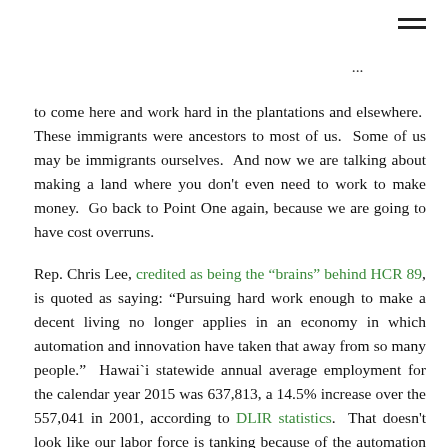≡
to come here and work hard in the plantations and elsewhere.  These immigrants were ancestors to most of us.  Some of us may be immigrants ourselves.  And now we are talking about making a land where you don't even need to work to make money.  Go back to Point One again, because we are going to have cost overruns.
Rep. Chris Lee, credited as being the "brains" behind HCR 89, is quoted as saying: "Pursuing hard work enough to make a decent living no longer applies in an economy in which automation and innovation have taken that away from so many people."  Hawai`i statewide annual average employment for the calendar year 2015 was 637,813, a 14.5% increase over the 557,041 in 2001, according to DLIR statistics.  That doesn't look like our labor force is tanking because of the automation and innovation that